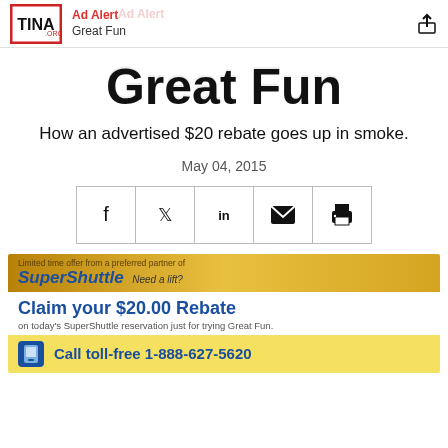Ad Alert  Great Fun
Great Fun
How an advertised $20 rebate goes up in smoke.
May 04, 2015
[Figure (infographic): Social sharing buttons row: Facebook, Twitter, LinkedIn, Email, Print]
[Figure (infographic): SuperShuttle ad banner: 'Limited time offer from a preferred partner of SuperShuttle Need a lift? Claim your $20.00 Rebate on today's SuperShuttle reservation just for trying Great Fun. Call toll-free 1-888-627-5620']